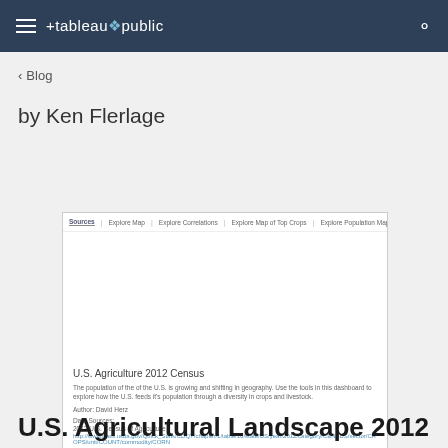tableau public
< Blog
by Ken Flerlage
[Figure (screenshot): Embedded Tableau Public dashboard showing 'U.S. Agriculture 2012 Census' with tabs: Sources | Explore Map | Explore Correlations | Explore Map of Top Crops | Explore Population Map | Explore Scatter Plots. Description: The population of the of the U.S. is growing and shifting in geography. Use the tools in this dashboard to explore how the U.S. feeds it's population through a diversity in crops and livestock. Author: David Herz. Data Sources: 2012 U.S. Census of Agriculture, Census U.S. Intercensal County Population Data, 1970-2014.]
U.S. Agricultural Landscape 2012